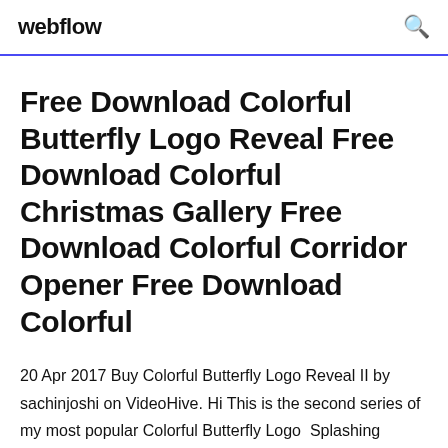webflow
Free Download Colorful Butterfly Logo Reveal Free Download Colorful Christmas Gallery Free Download Colorful Corridor Opener Free Download Colorful
20 Apr 2017 Buy Colorful Butterfly Logo Reveal II by sachinjoshi on VideoHive. Hi This is the second series of my most popular Colorful Butterfly Logo  Splashing Butterfly Logo Reveal 14328166 Videohive - Free Download AE Templates Colorful Butterfly Logo Reveal - After Effects Project (Videohive). Download 594